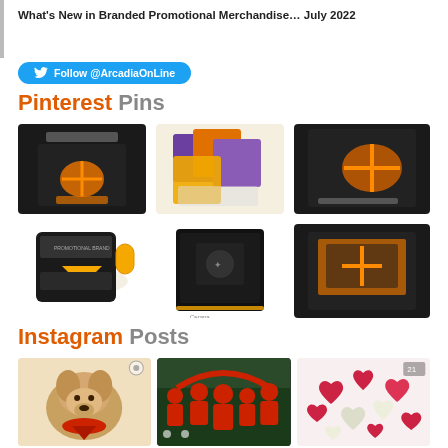What's New in Branded Promotional Merchandise… July 2022
Follow @ArcadiaOnLine
Pinterest Pins
[Figure (photo): Grid of 6 branded promotional products including charging cables in packaging, purple/orange boxes, coffee mug, black notebook, and cable in box]
Instagram Posts
[Figure (photo): Grid of 3 Instagram post images: a golden retriever with red bandana, people in red costumes at a parade/event, and red and white heart-shaped candies]